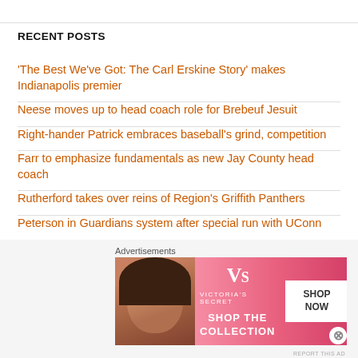RECENT POSTS
'The Best We've Got: The Carl Erskine Story' makes Indianapolis premier
Neese moves up to head coach role for Brebeuf Jesuit
Right-hander Patrick embraces baseball's grind, competition
Farr to emphasize fundamentals as new Jay County head coach
Rutherford takes over reins of Region's Griffith Panthers
Peterson in Guardians system after special run with UConn
Purdue righty Doorn makes most of summer opportunity
Kelly follows Robb…
[Figure (photo): Victoria's Secret advertisement banner with woman model and pink background, showing 'SHOP THE COLLECTION' text and 'SHOP NOW' button]